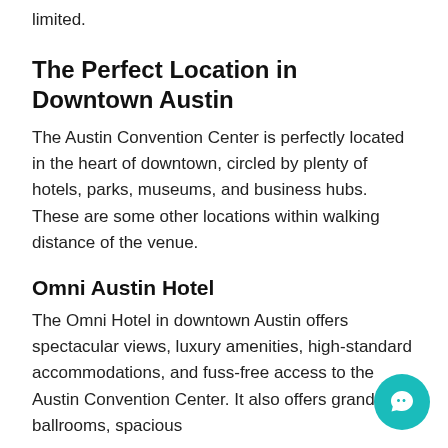limited.
The Perfect Location in Downtown Austin
The Austin Convention Center is perfectly located in the heart of downtown, circled by plenty of hotels, parks, museums, and business hubs. These are some other locations within walking distance of the venue.
Omni Austin Hotel
The Omni Hotel in downtown Austin offers spectacular views, luxury amenities, high-standard accommodations, and fuss-free access to the Austin Convention Center. It also offers grand ballrooms, spacious